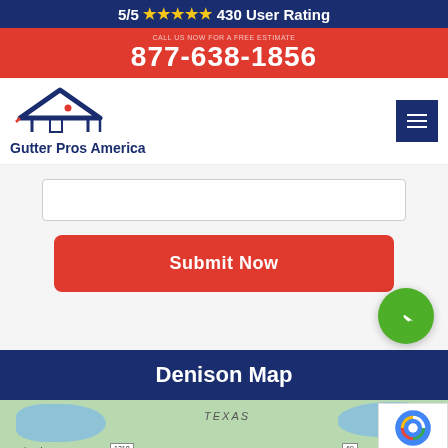5/5 ★★★★★ 430 User Rating
877-638-1856
[Figure (logo): Gutter Pros America logo with house roof icon and brand name]
[Figure (screenshot): Form input field (text box)]
Submit Now
[Figure (illustration): Green phone call bubble icon]
Denison Map
[Figure (map): Google Maps view of Denison, Texas area showing lakes and roads including route 1310]